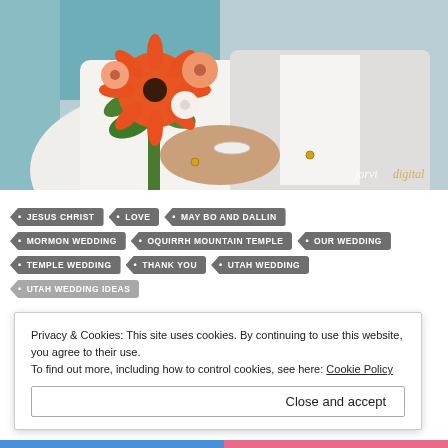[Figure (photo): Wedding photo showing bride in white dress holding orange/red flower bouquet and groom in white suit, torsos only visible. Watermark reads 'jorvie digital'.]
JESUS CHRIST
LOVE
MAY BO AND DALLIN
MORMON WEDDING
OQUIRRH MOUNTAIN TEMPLE
OUR WEDDING
TEMPLE WEDDING
THANK YOU
UTAH WEDDING
UTAH WEDDING IDEAS
Privacy & Cookies: This site uses cookies. By continuing to use this website, you agree to their use.
To find out more, including how to control cookies, see here: Cookie Policy
Close and accept